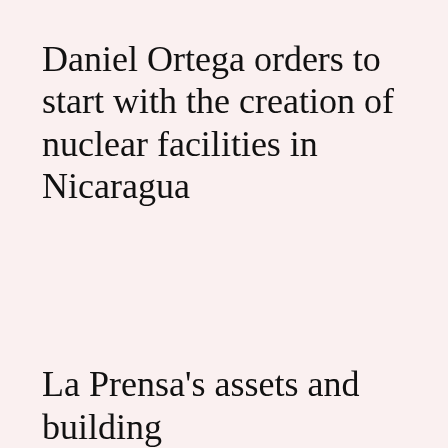Daniel Ortega orders to start with the creation of nuclear facilities in Nicaragua
La Prensa's assets and building